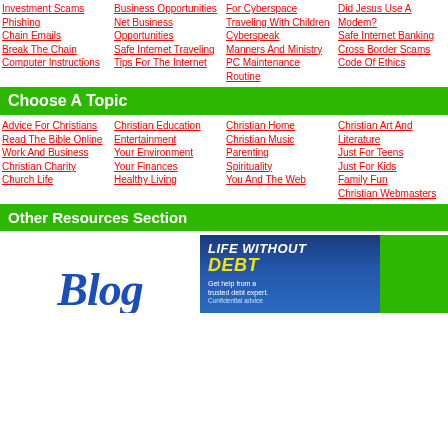Investment Scams
Phishing
Chain Emails
Break The Chain
Computer Instructions
Business Opportunities
Net Business Opportunities
Safe Internet Traveling
Tips For The Internet
For Cyberspace
Traveling With Children
Cyberspeak
Manners And Ministry
PC Maintenance Routine
Did Jesus Use A Modem?
Safe Internet Banking
Cross Border Scams
Code Of Ethics
Choose A Topic
Advice For Christians
Read The Bible Online
Work And Business
Christian Charity
Church Life
Christian Education
Entertainment
Your Environment
Your Finances
Healthy Living
Christian Home
Christian Music
Parenting
Spirituality
You And The Web
Christian Art And Literature
Just For Teens
Just For Kids
Family Fun
Christian Webmasters
Other Resources Section
[Figure (illustration): Blog logo text in blue italic serif font]
[Figure (illustration): Life Without Debt advertisement banner with blue background and yellow text]